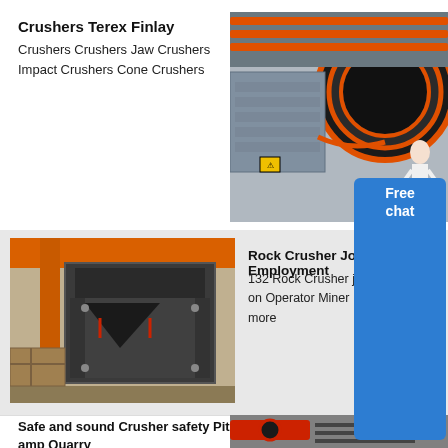Crushers Terex Finlay
Crushers Crushers Jaw Crushers Impact Crushers Cone Crushers
[Figure (photo): Close-up of crusher machinery showing pulleys, belts, and mechanical components with orange and black coloring. A person in a white coat stands to the right.]
Free chat
[Figure (photo): Large industrial rock crusher machine in a factory setting with orange crane and wooden packaging visible.]
Rock Crusher Jobs Employment
132 Rock Crusher jobs available on Operator Miner Millwright and more
Safe and sound Crusher safety Pit amp Quarry
[Figure (photo): Industrial crusher equipment showing mechanical components in a factory setting.]